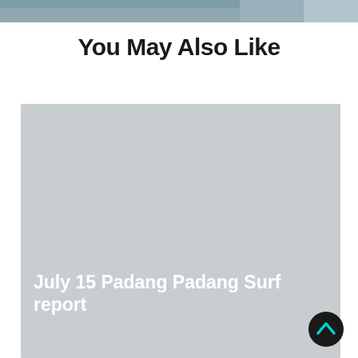[Figure (photo): Partial top strip showing a blurred beach/surf scene photo]
You May Also Like
[Figure (photo): Large light grey placeholder card image for a surf report article]
July 15 Padang Padang Surf report